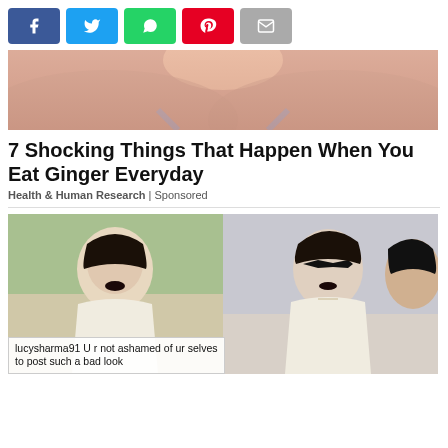[Figure (infographic): Social media share buttons: Facebook (blue), Twitter (cyan), WhatsApp (green), Pinterest (red), Email (gray)]
[Figure (photo): Close-up photo of a person's neck and shoulders, wearing a gray bra strap, skin tone visible]
7 Shocking Things That Happen When You Eat Ginger Everyday
Health & Human Research | Sponsored
[Figure (photo): Two side-by-side photos of a woman wearing large black sunglasses and a beige blazer with dark lipstick. Left photo shows her outdoors with palm trees. Right photo shows her indoors with another person.]
lucysharma91 U r not ashamed of ur selves to post such a bad look